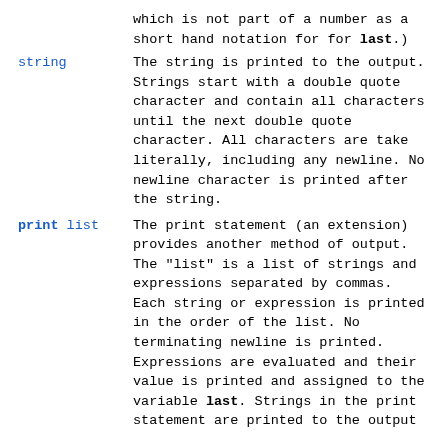which is not part of a number as a short hand notation for for last.)
string — The string is printed to the output. Strings start with a double quote character and contain all characters until the next double quote character. All characters are take literally, including any newline. No newline character is printed after the string.
print list — The print statement (an extension) provides another method of output. The "list" is a list of strings and expressions separated by commas. Each string or expression is printed in the order of the list. No terminating newline is printed. Expressions are evaluated and their value is printed and assigned to the variable last. Strings in the print statement are printed to the output